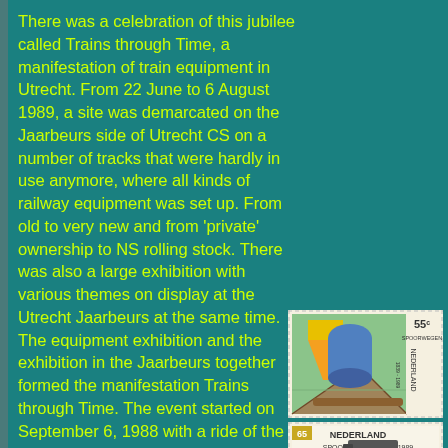There was a celebration of this jubilee called Trains through Time, a manifestation of train equipment in Utrecht. From 22 June to 6 August 1989, a site was demarcated on the Jaarbeurs side of Utrecht CS on a number of tracks that were hardly in use anymore, where all kinds of railway equipment was set up. From old to very new and from 'private' ownership to NS rolling stock. There was also a large exhibition with various themes on display at the Utrecht Jaarbeurs at the same time. The equipment exhibition and the exhibition in the Jaarbeurs together formed the manifestation Trains through Time. The event started on September 6, 1988 with a ride of the professionally restored NS 3737 through the Netherlands from Amsterdam C.S.
[Figure (illustration): Two Dutch postage stamps related to Dutch railways (Spoorwegen) 1839-1989. Top stamp shows 55 cents denomination with a stylized illustration of a train wheel/rail and colorful geometric shapes. Bottom stamp shows 65 cents denomination with NEDERLAND SPOORWEGEN 1839-1989 text and a train illustration.]